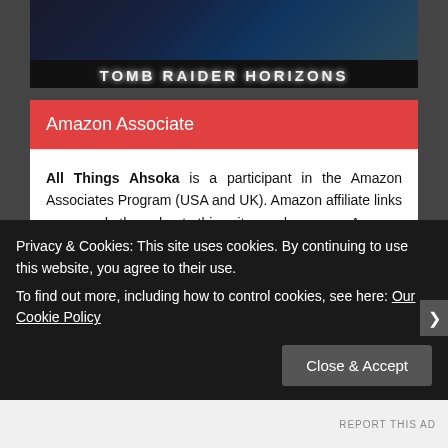[Figure (illustration): Tomb Raider Horizons website banner with dark game-themed background image and title bar reading TOMB RAIDER HORIZONS in white bold letters on black background]
Amazon Associate
All Things Ahsoka is a participant in the Amazon Associates Program (USA and UK). Amazon affiliate links are used throughout this site and as an Amazon Associate, this means that I may earn a small commission for any qualifying purchases made via Amazon or Amazon UK at no extra cost to you.
Advertisements
Privacy & Cookies: This site uses cookies. By continuing to use this website, you agree to their use.
To find out more, including how to control cookies, see here: Our Cookie Policy
Close & Accept